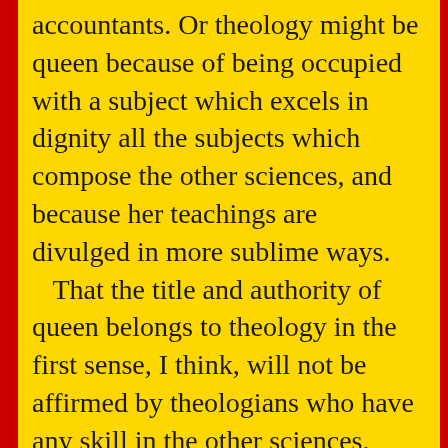accountants. Or theology might be queen because of being occupied with a subject which excels in dignity all the subjects which compose the other sciences, and because her teachings are divulged in more sublime ways. That the title and authority of queen belongs to theology in the first sense, I think, will not be affirmed by theologians who have any skill in the other sciences. None of these, I think, will say that geometry, astronomy, music, and medicine are much more excellently contained in the Bible than they are in the books of Archimedes, Ptolemy, Boethius, and Galen. Hence it seems likely that regal preeminence is given to theology in the second sense; that is, by reason of its subject and the miraculous communication of divine revelation of a truth which should be above reason, by...